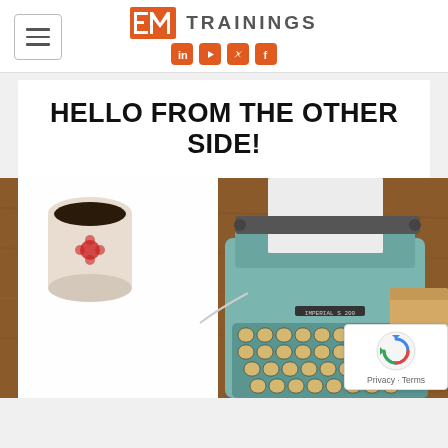[Figure (logo): EMI Trainings logo with orange square EM icon and social media icons (LinkedIn, YouTube, Twitter, Facebook) in orange]
HELLO FROM THE OTHER SIDE!
[Figure (photo): Overhead view of a vintage teal typewriter on a wooden desk with a white sheet of paper, a coffee mug, blank white paper, and a cardboard box. A reCAPTCHA badge with Privacy and Terms links is overlaid in the bottom right corner.]